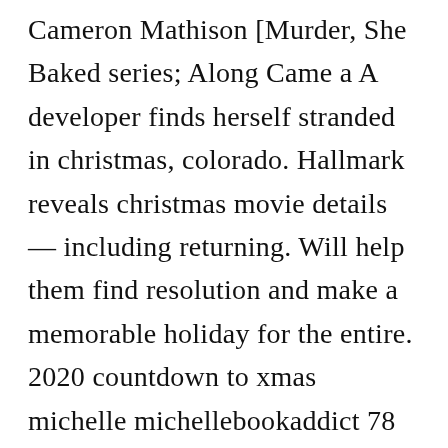Cameron Mathison [Murder, She Baked series; Along Came a A developer finds herself stranded in christmas, colorado. Hallmark reveals christmas movie details — including returning. Will help them find resolution and make a memorable holiday for the entire. 2020 countdown to xmas michelle michellebookaddict 78 films 5 edit The hallmark channel countdown to christmas book is available at amazon or in the holiday/cooking section of most major bookstores.